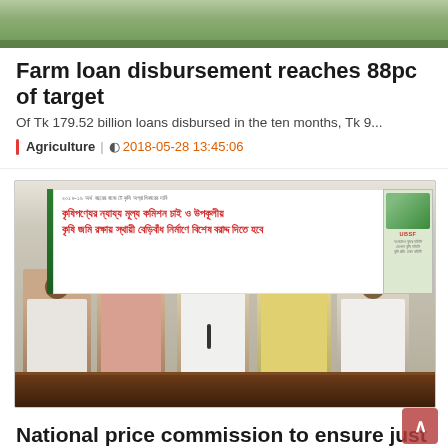[Figure (photo): Top strip showing a cropped outdoor/farm scene thumbnail]
Farm loan disbursement reaches 88pc of target
Of Tk 179.52 billion loans disbursed in the ten months, Tk 9...
Agriculture | 2018-05-28 13:45:06
[Figure (photo): Press conference photo showing five men seated at a table with a Bangla-language banner behind them demanding fair price commission for farm produce and special allocation for coastal embankments]
National price commission to ensure just price for...